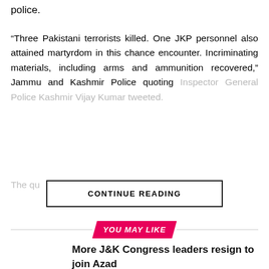police.
“Three Pakistani terrorists killed. One JKP personnel also attained martyrdom in this chance encounter. Incriminating materials, including arms and ammunition recovered,” Jammu and Kashmir Police quoting Inspector General Police Kashmir Vijay Kumar tweeted.
The qu... ...e police ...
CONTINUE READING
YOU MAY LIKE
More J&K Congress leaders resign to join Azad
Sufi conference in J&K’s Bandipora hosts a sizeable gathering